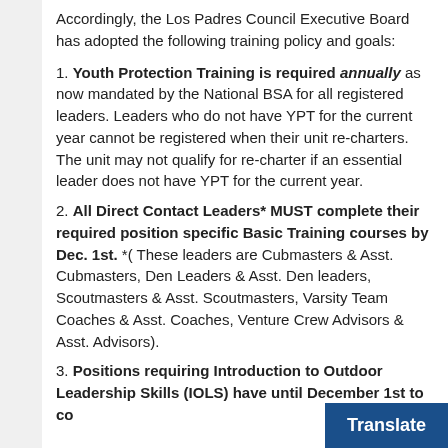Accordingly, the Los Padres Council Executive Board has adopted the following training policy and goals:
1. Youth Protection Training is required annually as now mandated by the National BSA for all registered leaders. Leaders who do not have YPT for the current year cannot be registered when their unit re-charters. The unit may not qualify for re-charter if an essential leader does not have YPT for the current year.
2. All Direct Contact Leaders* MUST complete their required position specific Basic Training courses by Dec. 1st. *( These leaders are Cubmasters & Asst. Cubmasters, Den Leaders & Asst. Den leaders, Scoutmasters & Asst. Scoutmasters, Varsity Team Coaches & Asst. Coaches, Venture Crew Advisors & Asst. Advisors).
3. Positions requiring Introduction to Outdoor Leadership Skills (IOLS) have until December 1st to co…